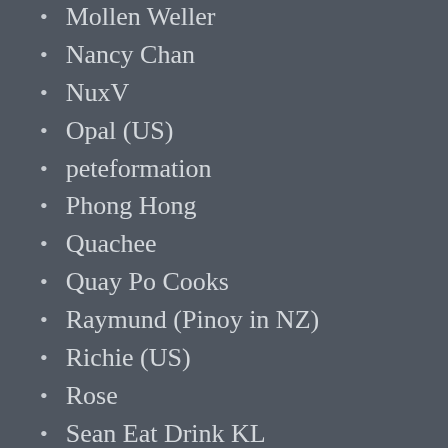Mollen Weller
Nancy Chan
NuxV
Opal (US)
peteformation
Phong Hong
Quachee
Quay Po Cooks
Raymund (Pinoy in NZ)
Richie (US)
Rose
Sean Eat Drink KL
sheohyan
simon
smallkucing
Thanis Lim (Brunei)
The Yum List